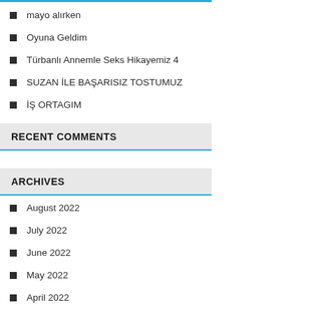mayo alırken
Oyuna Geldim
Türbanlı Annemle Seks Hikayemiz 4
SUZAN İLE BAŞARISIZ TOSTUMUZ
İŞ ORTAGIM
RECENT COMMENTS
ARCHIVES
August 2022
July 2022
June 2022
May 2022
April 2022